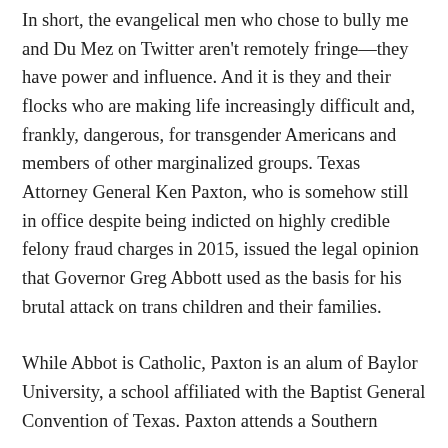In short, the evangelical men who chose to bully me and Du Mez on Twitter aren't remotely fringe—they have power and influence. And it is they and their flocks who are making life increasingly difficult and, frankly, dangerous, for transgender Americans and members of other marginalized groups. Texas Attorney General Ken Paxton, who is somehow still in office despite being indicted on highly credible felony fraud charges in 2015, issued the legal opinion that Governor Greg Abbott used as the basis for his brutal attack on trans children and their families.
While Abbot is Catholic, Paxton is an alum of Baylor University, a school affiliated with the Baptist General Convention of Texas. Paxton attends a Southern